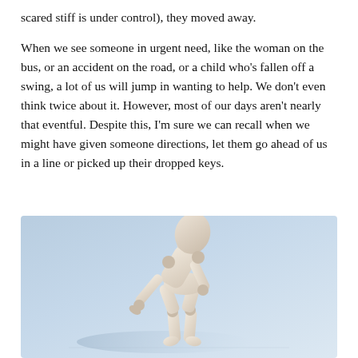scared stiff is under control), they moved away.
When we see someone in urgent need, like the woman on the bus, or an accident on the road, or a child who's fallen off a swing, a lot of us will jump in wanting to help. We don't even think twice about it. However, most of our days aren't nearly that eventful. Despite this, I'm sure we can recall when we might have given someone directions, let them go ahead of us in a line or picked up their dropped keys.
[Figure (photo): A wooden articulated mannequin/artist dummy bending forward on a light blue background, casting a shadow.]